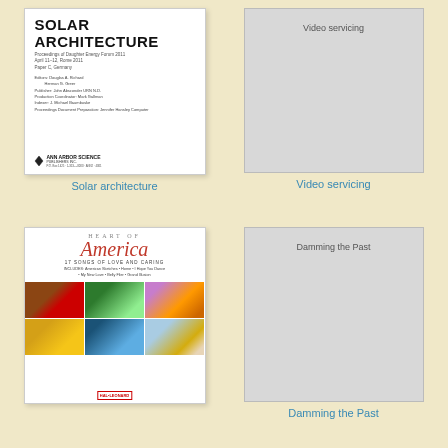[Figure (photo): Book cover: Solar Architecture, published by Ann Arbor Science Publishers Inc.]
[Figure (photo): Placeholder cover for 'Video servicing' with gray background and centered text]
Solar architecture
Video servicing
[Figure (photo): Book cover: Heart of America - 17 Songs of Love and Caring, published by Hal Leonard]
[Figure (photo): Placeholder cover for 'Damming the Past' with gray background and centered text]
Damming the Past